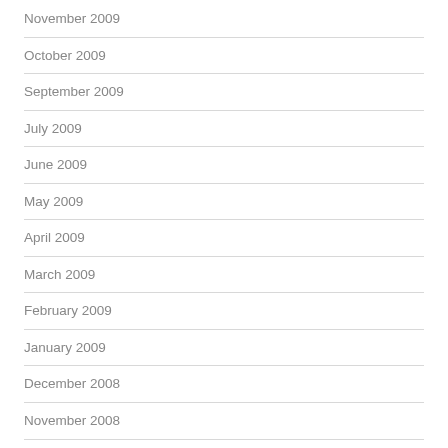November 2009
October 2009
September 2009
July 2009
June 2009
May 2009
April 2009
March 2009
February 2009
January 2009
December 2008
November 2008
October 2008
September 2008